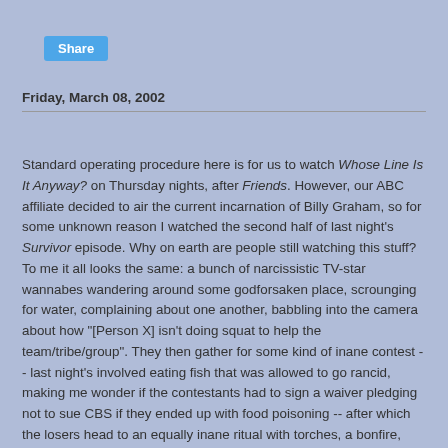Share
Friday, March 08, 2002
Standard operating procedure here is for us to watch Whose Line Is It Anyway? on Thursday nights, after Friends. However, our ABC affiliate decided to air the current incarnation of Billy Graham, so for some unknown reason I watched the second half of last night's Survivor episode. Why on earth are people still watching this stuff? To me it all looks the same: a bunch of narcissistic TV-star wannabes wandering around some godforsaken place, scrounging for water, complaining about one another, babbling into the camera about how "[Person X] isn't doing squat to help the team/tribe/group". They then gather for some kind of inane contest -- last night's involved eating fish that was allowed to go rancid, making me wonder if the contestants had to sign a waiver pledging not to sue CBS if they ended up with food poisoning -- after which the losers head to an equally inane ritual with torches, a bonfire, and that Wonder Bread-hea...